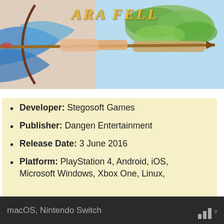[Figure (illustration): Banner image for 'Ara Fell' game showing an anime-style character drawing a bow with arrow, set against sky and floating island backgrounds. The game title 'ARA FELL' appears in stylized golden text.]
Developer: Stegosoft Games
Publisher: Dangen Entertainment
Release Date: 3 June 2016
Platform: PlayStation 4, Android, iOS, Microsoft Windows, Xbox One, Linux,
macOS, Nintendo Switch